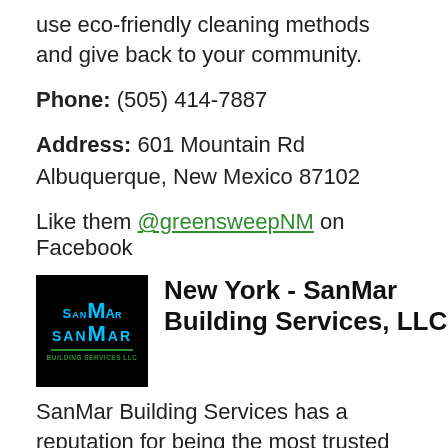use eco-friendly cleaning methods and give back to your community.
Phone: (505) 414-7887
Address: 601 Mountain Rd
Albuquerque, New Mexico 87102
Like them @greensweepNM on Facebook
[Figure (logo): SanMar Building Services LLC logo — black background with cyan/blue SanMar text and green underline, 'BUILDING SERVICES LLC' in green below]
New York - SanMar Building Services, LLC
SanMar Building Services has a reputation for being the most trusted restaurant cleaning company in their area. They will clean around your schedule (mornings, evenings, weekends or overnight) so that your restaurant is spotless during business hours.